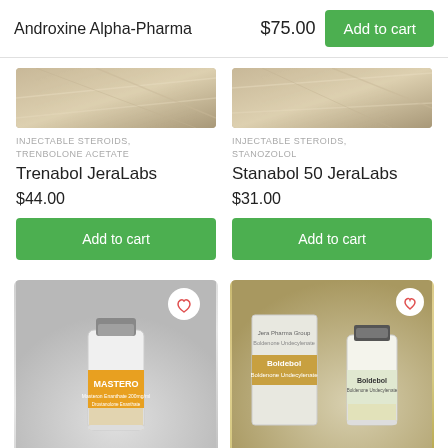Androxine Alpha-Pharma
$75.00
Add to cart
[Figure (photo): Product image top left - injectable steroid vial with metallic background]
INJECTABLE STEROIDS, TRENBOLONE ACETATE
Trenabol JeraLabs
$44.00
Add to cart
[Figure (photo): Product image top right - injectable steroid vial with metallic background]
INJECTABLE STEROIDS, STANOZOLOL
Stanabol 50 JeraLabs
$31.00
Add to cart
[Figure (photo): Masteron injectable steroid vial with orange label on grey background]
[Figure (photo): Boldebol boldenone undecylenate box and vial product on metallic background]